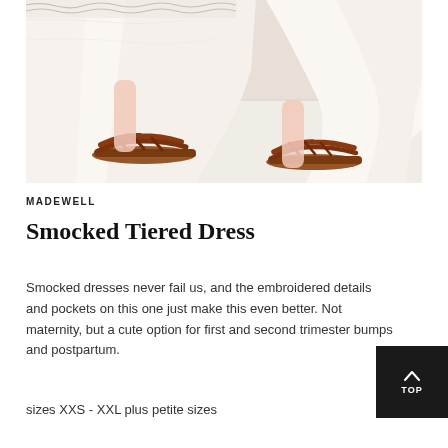[Figure (photo): Photo showing the lower portion of a person wearing a flowing white/cream smocked tiered dress and brown leather strap sandals, walking on a light-colored floor.]
MADEWELL
Smocked Tiered Dress
Smocked dresses never fail us, and the embroidered details and pockets on this one just make this even better. Not maternity, but a cute option for first and second trimester bumps and postpartum.
sizes XXS - XXL plus petite sizes